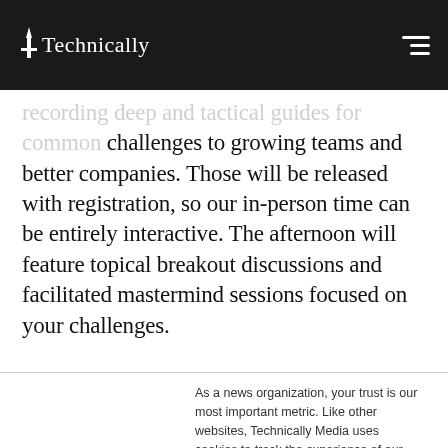Technically
recording deep and tactical guides for common challenges to growing teams and better companies. Those will be released with registration, so our in-person time can be entirely interactive. The afternoon will feature topical breakout discussions and facilitated mastermind sessions focused on your challenges.
As a news organization, your trust is our most important metric. Like other websites, Technically Media uses cookies to track the experience of our readers, to better understand usage patterns and content preferences. We will not sell or rent your personal information to third parties. For more information or to contact us, read our entire Ethics & Privacy Policy.
Close